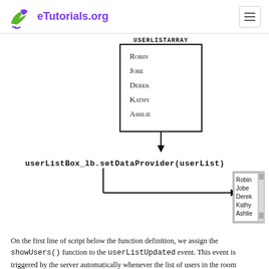eTutorials.org
[Figure (flowchart): Diagram showing USERLISTARRAY box containing Robin, Jobe, Derek, Kathy, Ashlie with arrow pointing down to userListBox_lb.setDataProvider(userList) label, then an L-shaped arrow pointing right to a listbox UI element containing Robin, Jobe, Derek, Kathy, Ashlie with scrollbar]
On the first line of script below the function definition, we assign the showUsers() function to the userListUpdated event. This event is triggered by the server automatically whenever the list of users in the room changes. Thus, whenever someone enters or leaves the chat room, the showUsers() function is called and the user